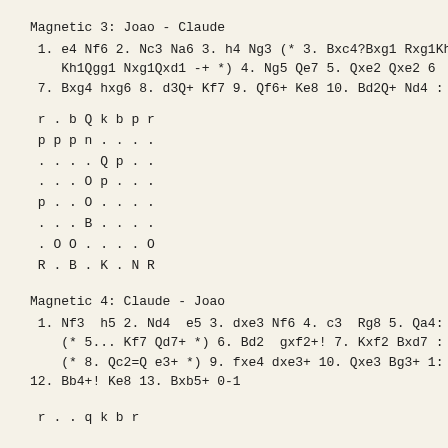Magnetic 3: Joao - Claude
1. e4 Nf6 2. Nc3 Na6 3. h4 Ng3 (* 3. Bxc4?Bxg1 Rxg1
    Kh1Qgg1 Nxg1Qxd1 -+ *) 4. Ng5 Qe7 5. Qxe2 Qxe2 6
 7. Bxg4 hxg6 8. d3Q+ Kf7 9. Qf6+ Ke8 10. Bd2Q+ Nd4 :
r . b Q k b p r
 p p p n . . . .
 . . . . Q p . .
 . . . O p . . .
 p . . O . . . .
 . . . B . . . .
 . O O . . . . O
 R . B . K . N R
Magnetic 4: Claude - Joao
1. Nf3  h5 2. Nd4  e5 3. dxe3 Nf6 4. c3  Rg8 5. Qa4:
    (* 5... Kf7 Qd7+ *) 6. Bd2  gxf2+! 7. Kxf2 Bxd7 :
    (* 8. Qc2=Q e3+ *) 9. fxe4 dxe3+ 10. Qxe3 Bg3+ 1:
12. Bb4+! Ke8 13. Bxb5+ 0-1
r . . q k b r